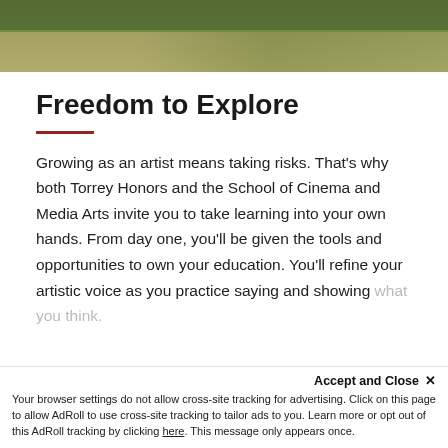[Figure (photo): Outdoor photo showing grass and people's feet/legs, cropped at top of page]
Freedom to Explore
Growing as an artist means taking risks. That's why both Torrey Honors and the School of Cinema and Media Arts invite you to take learning into your own hands. From day one, you'll be given the tools and opportunities to own your education. You'll refine your artistic voice as you practice saying and showing what you think.
Accept and Close ×
Your browser settings do not allow cross-site tracking for advertising. Click on this page to allow AdRoll to use cross-site tracking to tailor ads to you. Learn more or opt out of this AdRoll tracking by clicking here. This message only appears once.